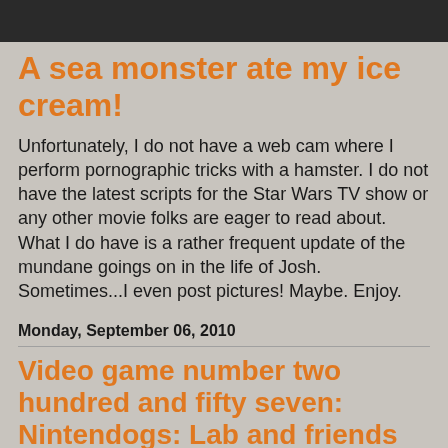A sea monster ate my ice cream!
Unfortunately, I do not have a web cam where I perform pornographic tricks with a hamster. I do not have the latest scripts for the Star Wars TV show or any other movie folks are eager to read about. What I do have is a rather frequent update of the mundane goings on in the life of Josh. Sometimes...I even post pictures! Maybe. Enjoy.
Monday, September 06, 2010
Video game number two hundred and fifty seven: Nintendogs: Lab and friends
Video game review number two hundred and fifty seven in my 365 Games in 365 Days project is "Nintendogs: Lab and